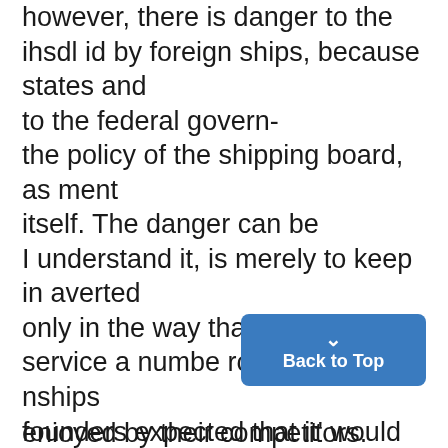however, there is danger to the ihsdl id by foreign ships, because states and to the federal govern- the policy of the shipping board, as ment itself. The danger can be I understand it, is merely to keep in averted only in the way that the service a numbe rof America nships founders expected that it' would be sufficient to insure American cargoes! averted: through the eternal vigi- as reasonable freight charges a of the states themselves. enioyed by their competitors. "There is